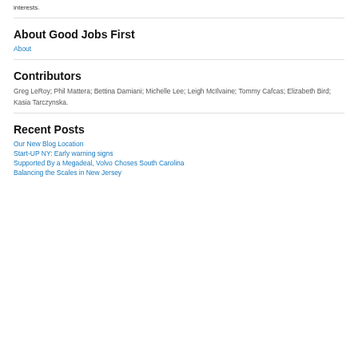interests.
About Good Jobs First
About
Contributors
Greg LeRoy; Phil Mattera; Bettina Damiani; Michelle Lee; Leigh McIlvaine; Tommy Cafcas; Elizabeth Bird; Kasia Tarczynska.
Recent Posts
Our New Blog Location
Start-UP NY: Early warning signs
Supported By a Megadeal, Volvo Choses South Carolina
Balancing the Scales in New Jersey